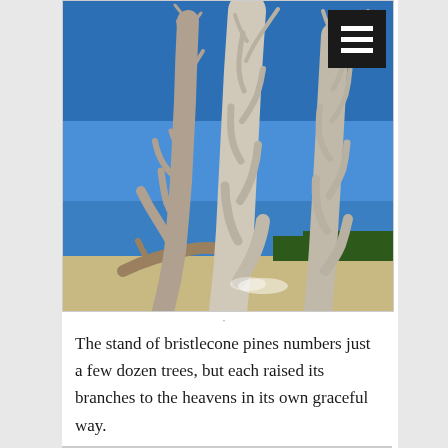[Figure (photo): Photograph of ancient bristlecone pine trees with bleached white trunks and sparse bare branches reaching upward against a deep blue sky, with green trees visible in the background.]
The stand of bristlecone pines numbers just a few dozen trees, but each raised its branches to the heavens in its own graceful way.